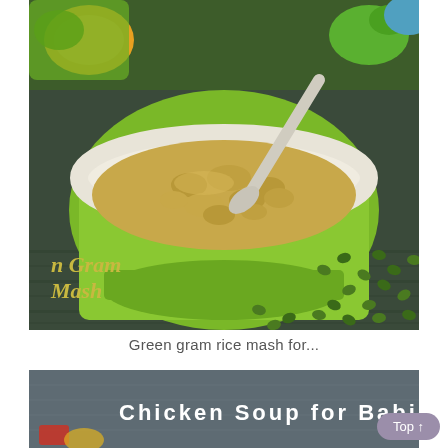[Figure (photo): A green ceramic bowl filled with green gram rice mash (khichdi), with a spoon, surrounded by green mung beans on a dark wooden surface. Colorful toy shapes visible in the background. Text overlay reads 'n Gram Mash'.]
Green gram rice mash for...
[Figure (photo): Partial view of a food photo with text overlay reading 'Chicken Soup for Babies...' on a dark background with colorful toy elements.]